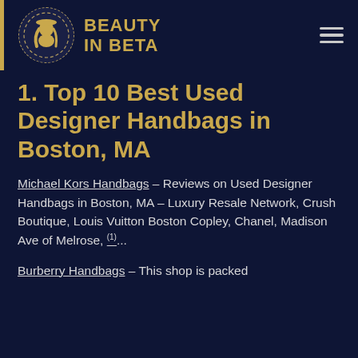BEAUTY IN BETA
1. Top 10 Best Used Designer Handbags in Boston, MA
Michael Kors Handbags – Reviews on Used Designer Handbags in Boston, MA – Luxury Resale Network, Crush Boutique, Louis Vuitton Boston Copley, Chanel, Madison Ave of Melrose, (1)...
Burberry Handbags – This shop is packed